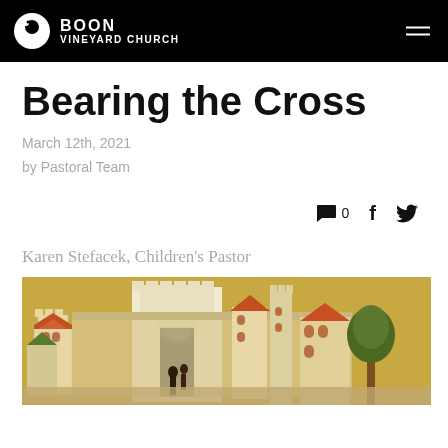VINEYARD CHURCH
Bearing the Cross
March 12th, 2021
by Pastoral Team
💬 0  f  🐦
Karen Stefacek, Children's Pastor
[Figure (illustration): Medieval-style painting of a walled city with arched gate, towers, buildings with terracotta roofs, and a tree, on a golden background]